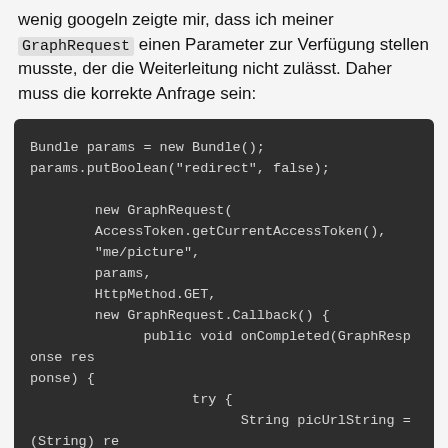wenig googeln zeigte mir, dass ich meiner GraphRequest einen Parameter zur Verfügung stellen musste, der die Weiterleitung nicht zulässt. Daher muss die korrekte Anfrage sein:
[Figure (screenshot): Code block on dark background showing Java code: Bundle params = new Bundle(); params.putBoolean("redirect", false); new GraphRequest( AccessToken.getCurrentAccessToken(), "me/picture", params, HttpMethod.GET, new GraphRequest.Callback() { public void onCompleted(GraphResponse response) { try { String picUrlString = (String) response.getJSONObject().getJSONObject("data").get("url");]